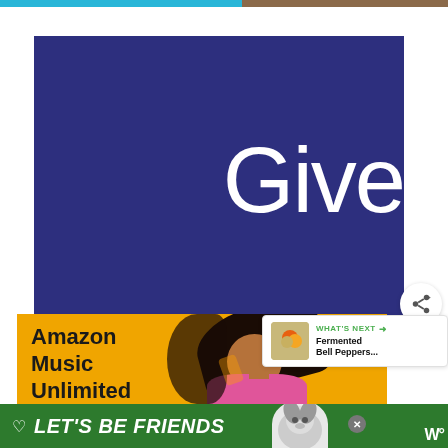[Figure (screenshot): Top strip with blue and brown image sections]
[Figure (illustration): Dark navy blue square with large white text reading 'Give' (partially cut off on right)]
[Figure (infographic): Green heart/like button showing count of 6, and a share button below]
[Figure (photo): Amazon Music Unlimited advertisement banner with yellow/orange background and woman with curly hair]
[Figure (screenshot): WHAT'S NEXT widget showing 'Fermented Bell Peppers...' with thumbnail]
[Figure (infographic): Green bottom banner with text LET'S BE FRIENDS and dog image, close button, and WW logo]